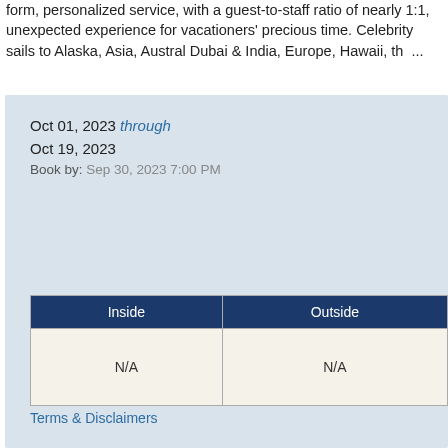form, personalized service, with a guest-to-staff ratio of nearly 1:1, unexpected experience for vacationers' precious time. Celebrity sails to Alaska, Asia, Australia, Dubai & India, Europe, Hawaii, th ...
Oct 01, 2023 through Oct 19, 2023
Book by: Sep 30, 2023 7:00 PM
| Inside | Outside |
| --- | --- |
| N/A | N/A |
Terms & Disclaimers